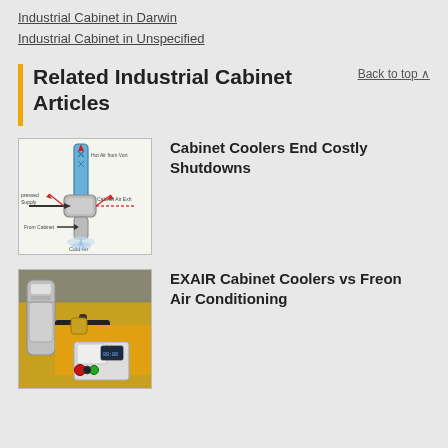Industrial Cabinet in Darwin
Industrial Cabinet in Unspecified
Related Industrial Cabinet Articles
Back to top ▲
[Figure (engineering-diagram): Diagram of a cabinet cooler showing airflow paths: Hot Air from Vortex, Compressed Supply, Cabinet Air Exhaust, From Cabinet, Cold Air]
Cabinet Coolers End Costly Shutdowns
[Figure (photo): Photo of an EXAIR cabinet cooler mounted on industrial yellow machinery with control panel]
EXAIR Cabinet Coolers vs Freon Air Conditioning